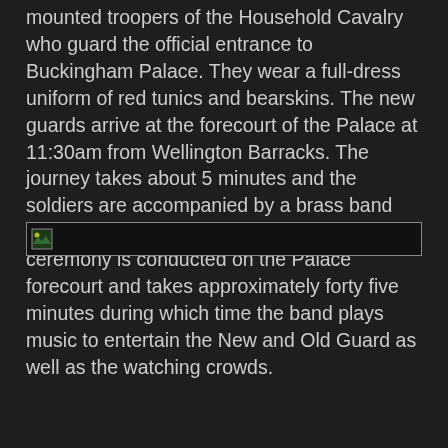mounted troopers of the Household Cavalry who guard the official entrance to Buckingham Palace. They wear a full-dress uniform of red tunics and bearskins. The new guards arrive at the forecourt of the Palace at 11:30am from Wellington Barracks. The journey takes about 5 minutes and the soldiers are accompanied by a brass band called the Guards band. The handover ceremony is conducted on the Palace forecourt and takes approximately forty five minutes during which time the band plays music to entertain the New and Old Guard as well as the watching crowds.
[Figure (photo): A broken/unloaded image placeholder with a small thumbnail icon, shown inside a dark bordered rectangle.]